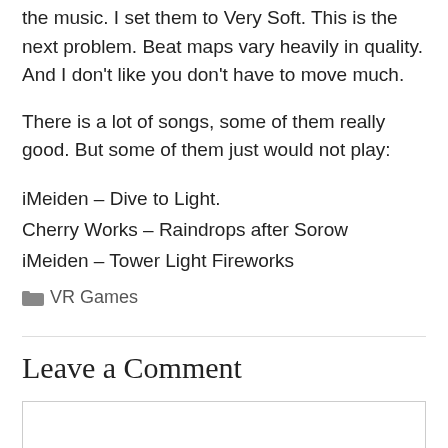the music. I set them to Very Soft. This is the next problem. Beat maps vary heavily in quality. And I don't like you don't have to move much.
There is a lot of songs, some of them really good. But some of them just would not play:
iMeiden – Dive to Light.
Cherry Works – Raindrops after Sorow
iMeiden – Tower Light Fireworks
VR Games
Leave a Comment